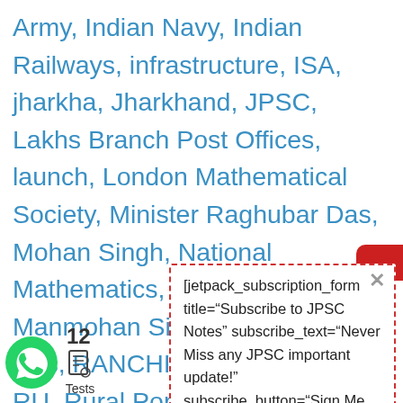Army, Indian Navy, Indian Railways, infrastructure, ISA, jharkha, Jharkhand, JPSC, Lakhs Branch Post Offices, launch, London Mathematical Society, Minister Raghubar Das, Mohan Singh, National Mathematics, Prime Minister Manmohan Singh, Raghubar Das, RANCHI, Royal Society, RU, Rural Population, Shri Sinha, Skill Centre, Skill Development, Ramanujan
[Figure (screenshot): A popup dialog with dashed red border showing a jetpack subscription form shortcode: [jetpack_subscription_form title="Subscribe to JPSC Notes" subscribe_text="Never Miss any JPSC important update!" subscribe_button="Sign Me Up" show_subscribers_total="1"] with an X close button, overlaying the main text.]
[Figure (logo): WhatsApp green circle logo icon at bottom left]
Tests